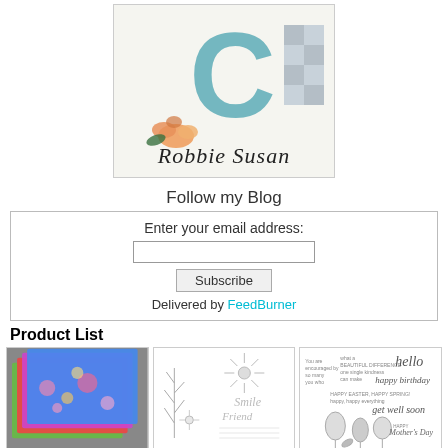[Figure (photo): Blog logo image showing a teal letter C with flowers and the script text 'Robbie Susan']
Follow my Blog
Enter your email address:
Subscribe
Delivered by FeedBurner
Product List
[Figure (photo): Colorful floral patterned cards/papers stacked]
[Figure (illustration): Stamp set with floral images - fern, daisy, and text 'Smile Friend']
[Figure (illustration): Stamp set with tulip flowers and text including 'hello', 'happy birthday', 'get well soon', 'happy Mother's Day']